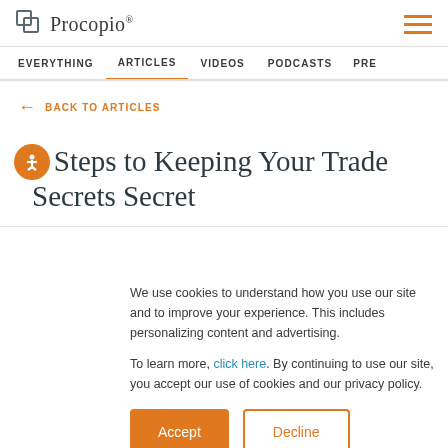Procopio
5 Steps to Keeping Your Trade Secrets Secret
We use cookies to understand how you use our site and to improve your experience. This includes personalizing content and advertising.

To learn more, click here. By continuing to use our site, you accept our use of cookies and our privacy policy.
Accept | Decline